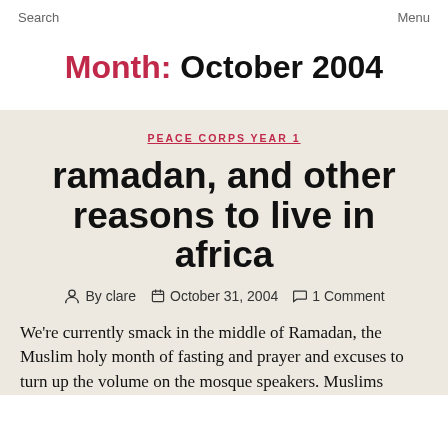Search   Menu
Month: October 2004
PEACE CORPS YEAR 1
ramadan, and other reasons to live in africa
By clare   October 31, 2004   1 Comment
We're currently smack in the middle of Ramadan, the Muslim holy month of fasting and prayer and excuses to turn up the volume on the mosque speakers. Muslims